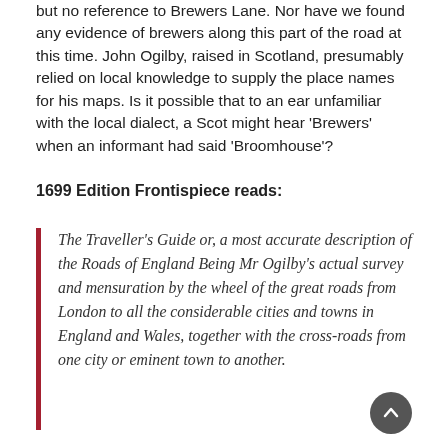but no reference to Brewers Lane. Nor have we found any evidence of brewers along this part of the road at this time. John Ogilby, raised in Scotland, presumably relied on local knowledge to supply the place names for his maps. Is it possible that to an ear unfamiliar with the local dialect, a Scot might hear 'Brewers' when an informant had said 'Broomhouse'?
1699 Edition Frontispiece reads:
The Traveller's Guide or, a most accurate description of the Roads of England Being Mr Ogilby's actual survey and mensuration by the wheel of the great roads from London to all the considerable cities and towns in England and Wales, together with the cross-roads from one city or eminent town to another.